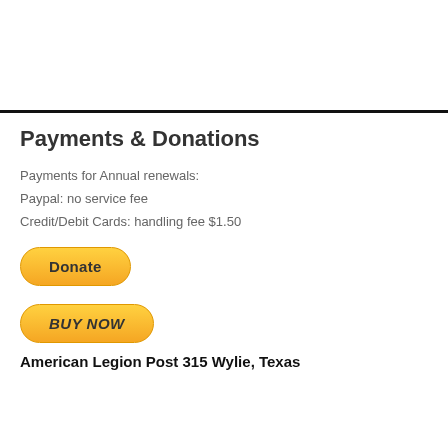Payments & Donations
Payments for Annual renewals:
Paypal: no service fee
Credit/Debit Cards: handling fee $1.50
[Figure (other): PayPal Donate button — yellow rounded rectangle with bold text 'Donate']
[Figure (other): PayPal Buy Now button — yellow rounded rectangle with italic bold text 'BUY NOW']
American Legion Post 315 Wylie, Texas